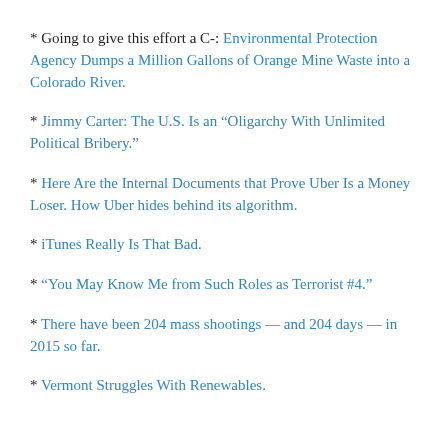* Going to give this effort a C-: Environmental Protection Agency Dumps a Million Gallons of Orange Mine Waste into a Colorado River.
* Jimmy Carter: The U.S. Is an “Oligarchy With Unlimited Political Bribery.”
* Here Are the Internal Documents that Prove Uber Is a Money Loser. How Uber hides behind its algorithm.
* iTunes Really Is That Bad.
* “You May Know Me from Such Roles as Terrorist #4.”
* There have been 204 mass shootings — and 204 days — in 2015 so far.
* Vermont Struggles With Renewables.